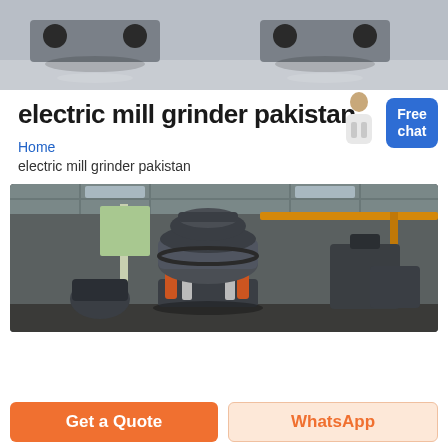[Figure (photo): Top photo showing industrial mill grinder machines on a factory floor with grey equipment and reflective floor]
electric mill grinder pakistan
Home
electric mill grinder pakistan
[Figure (photo): Industrial factory photo showing large cone crusher / mill grinder machinery in a warehouse with orange hydraulic supports]
Get a Quote
WhatsApp